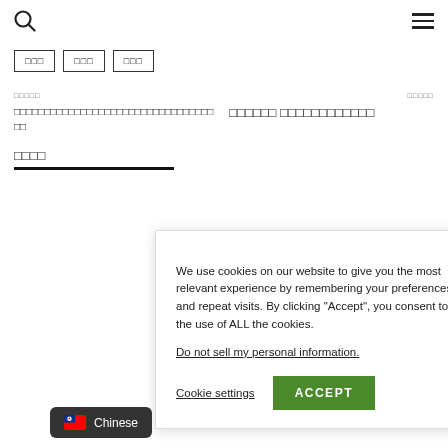Navigation bar with search icon and menu icon
□□□
□□□
□□□
□□□□□□ □□□□□□□□□□□□□□□□□□□□□□□□□□□□ □□
□□□□□□ □□□□□□□□□□□□
□□□□
[Figure (screenshot): Cookie consent banner with text: We use cookies on our website to give you the most relevant experience by remembering your preferences and repeat visits. By clicking Accept, you consent to the use of ALL the cookies. Do not sell my personal information. Cookie settings | ACCEPT button]
Chinese language selector with Taiwan flag